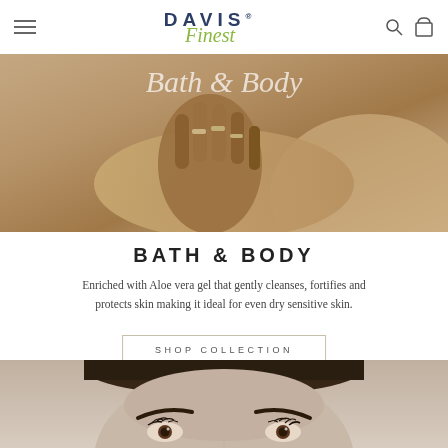Davis Finest — navigation header with logo, hamburger menu, search and cart icons
[Figure (photo): Full-width banner photo showing close-up of hands with rings against a warm beige/tan background, with 'Bath & Body' text overlaid in white italic script]
BATH & BODY
Enriched with Aloe vera gel that gently cleanses, fortifies and protects skin making it ideal for even dry sensitive skin.
SHOP COLLECTION
[Figure (photo): Close-up portrait photo of a woman's face from forehead to just below the eyes, showing dark hair pulled back, prominent eyebrows, and eyes looking slightly upward]